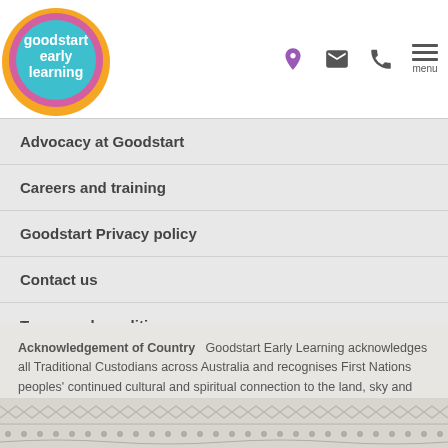[Figure (logo): Goodstart Early Learning circular logo with colorful rings and white text]
Advocacy at Goodstart
Careers and training
Goodstart Privacy policy
Contact us
Terms and conditions
Acknowledgement of Country  Goodstart Early Learning acknowledges all Traditional Custodians across Australia and recognises First Nations peoples' continued cultural and spiritual connection to the land, sky and waterways that surround us. We pay our respects to Elders past, present and emerging.
[Figure (illustration): Indigenous decorative pattern band in grey tones]